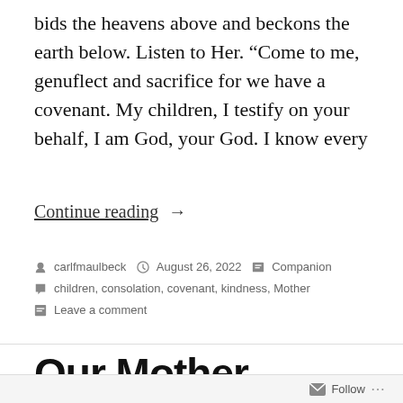bids the heavens above and beckons the earth below. Listen to Her. “Come to me, genuflect and sacrifice for we have a covenant. My children, I testify on your behalf, I am God, your God. I know every
Continue reading →
By carlfmaulbeck | August 26, 2022 | Companion | children, consolation, covenant, kindness, Mother | Leave a comment
Our Mother (Psalm 50)